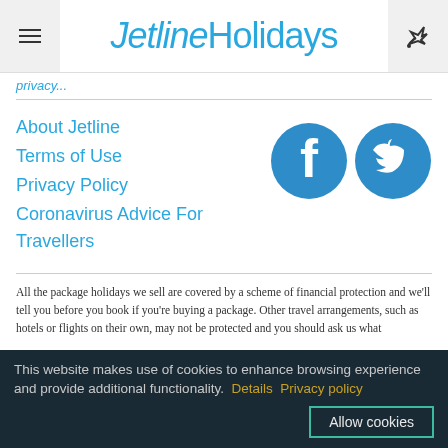JetlineHolidays
privacy...
About Jetline
Terms of Use
Privacy Policy
Coronavirus Advice For Travellers
[Figure (logo): Facebook and Twitter circular social media icons in blue]
All the package holidays we sell are covered by a scheme of financial protection and we'll tell you before you book if you're buying a package. Other travel arrangements, such as hotels or flights on their own, may not be protected and you should ask us what
This website makes use of cookies to enhance browsing experience and provide additional functionality. Details Privacy policy Allow cookies